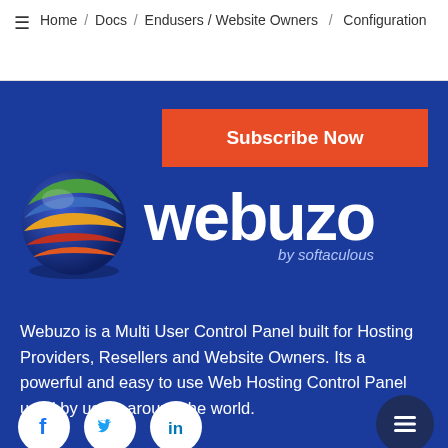≡  Home / Docs / Endusers / Website Owners / Configuration
[Figure (logo): Orange subscribe now button on blue background]
[Figure (logo): Webuzo logo with colorful 3D globe and text 'webuzo by softaculous' on dark blue background]
Webuzo is a Multi User Control Panel built for Hosting Providers, Resellers and Website Owners. Its a powerful and easy to use Web Hosting Control Panel used by users around the world.
[Figure (illustration): Social media icons: Facebook, Twitter, LinkedIn in white circles on blue background, and a hamburger menu circle on the right]